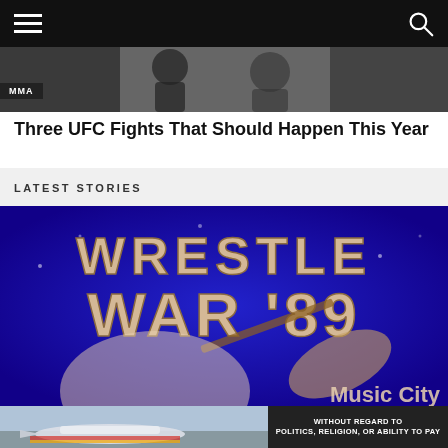Navigation bar with hamburger menu and search icon
[Figure (photo): Hero image strip showing MMA fighters, partially visible at top of page]
MMA
Three UFC Fights That Should Happen This Year
LATEST STORIES
[Figure (photo): Wrestle War '89 event logo on blue background with text 'WRESTLE WAR 89' in tan/gold letters and 'Music City' partially visible at bottom right]
[Figure (photo): Advertisement banner showing airplane photo on left and dark box with text 'WITHOUT REGARD TO POLITICS, RELIGION, OR ABILITY TO PAY' on right]